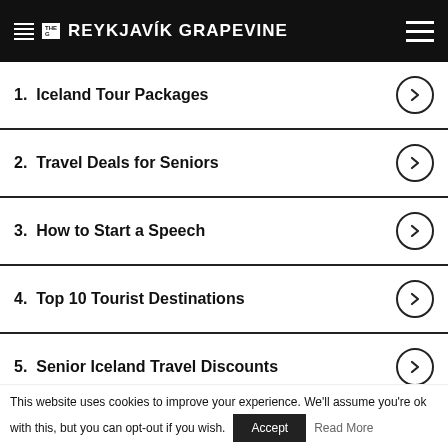THE REYKJAVÍK GRAPEVINE
1. Iceland Tour Packages
2. Travel Deals for Seniors
3. How to Start a Speech
4. Top 10 Tourist Destinations
5. Senior Iceland Travel Discounts
[Figure (illustration): Red banner advertisement with mountain logo and text 'Hiking to the']
This website uses cookies to improve your experience. We'll assume you're ok with this, but you can opt-out if you wish.